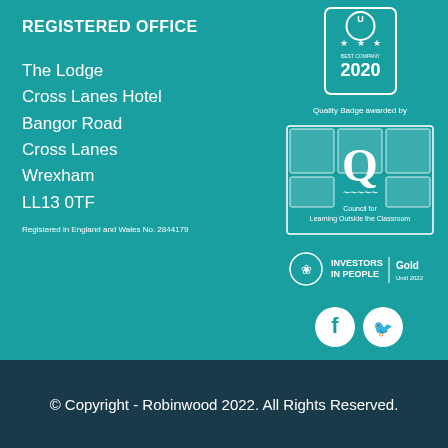REGISTERED OFFICE
The Lodge
Cross Lanes Hotel
Bangor Road
Cross Lanes
Wrexham
LL13 0TF
Registered in England and Wales No. 2844179
[Figure (logo): Best Company 3 stars 2020 badge]
Quality Badge awarded by
[Figure (logo): Council for Learning Outside the Classroom Quality Badge]
[Figure (logo): Investors in People Gold Until 2022]
[Figure (logo): Facebook and Twitter social media icons]
© Copyright - Robinwood 2022. All Rights Reserved.